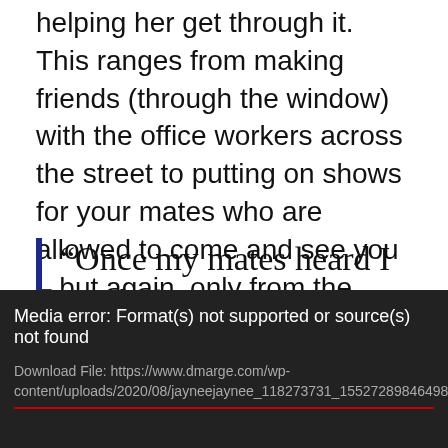helping her get through it. This ranges from making friends (through the window) with the office workers across the street to putting on shows for your mates who are allowed to come and see you – but again, only from the street.
“Once my mates heard I cried, they came to visit.”
[Figure (screenshot): Media player error screen showing 'Media error: Format(s) not supported or source(s) not found' with a download file link to https://www.dmarge.com/wp-content/uploads/2020/08/jayneejaynee_118273731_155272898464988_71911557...]